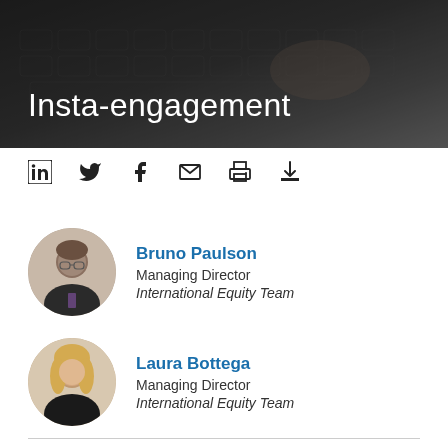[Figure (photo): Dark background photo of a keyboard/laptop, used as hero banner image]
Insta-engagement
[Figure (infographic): Social sharing icons: LinkedIn, Twitter, Facebook, Email, Print, Download]
Bruno Paulson
Managing Director
International Equity Team
Laura Bottega
Managing Director
International Equity Team
Effective engagement needs time. Expecting instant results from an engagement is as senseless as expecting